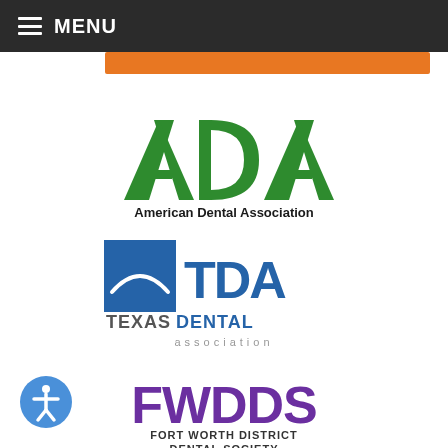MENU
[Figure (logo): American Dental Association (ADA) logo with green stylized letters and full name beneath]
[Figure (logo): Texas Dental Association (TDA) logo with blue square and stylized TDA text, TEXASDENTAL association below]
[Figure (logo): Fort Worth District Dental Society (FWDDS) logo in purple text]
[Figure (illustration): Accessibility icon button in blue circle at bottom left]